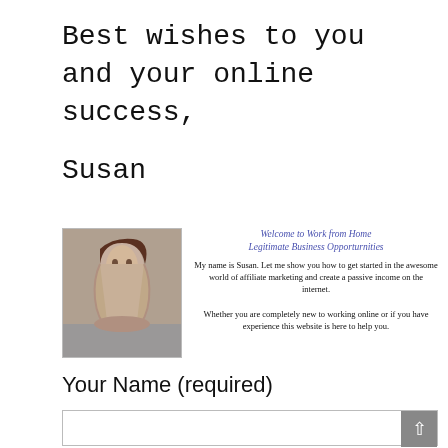Best wishes to you and your online success,
Susan
[Figure (photo): Black and white photo of a woman with long dark hair, smiling, next to a banner for 'Welcome to Work from Home Legitimate Business Opporturnities' with text about affiliate marketing]
Your Name (required)